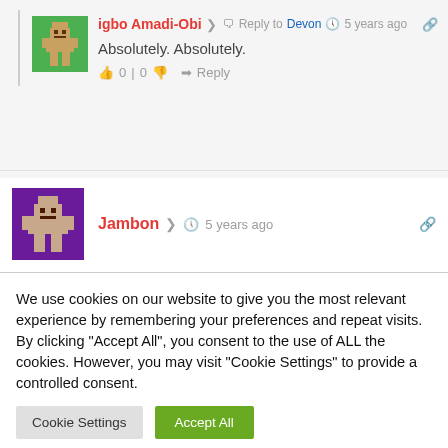[Figure (screenshot): Pixel art avatar icon on green background for user igbo Amadi-Obi]
igbo Amadi-Obi  Reply to Devon  5 years ago
Absolutely. Absolutely.
0 | 0   Reply
[Figure (screenshot): Pixel art avatar icon on purple background for user Jambon]
Jambon  5 years ago
We use cookies on our website to give you the most relevant experience by remembering your preferences and repeat visits. By clicking "Accept All", you consent to the use of ALL the cookies. However, you may visit "Cookie Settings" to provide a controlled consent.
Cookie Settings   Accept All